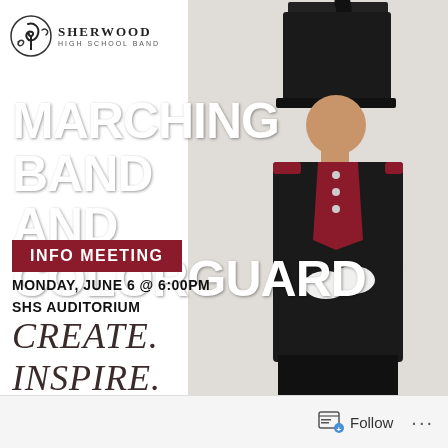[Figure (illustration): Sherwood High School Band logo with circular music note emblem and school name text]
[Figure (photo): Marching band member in profile wearing full black uniform with tall black hat/shako and dark red/maroon vest, arms crossed with white gloves, against a light background]
MARCHING BAND AND COLORGUARD
INFO MEETING
MONDAY, JUNE 6 @ 6:00PM
SHS AUDITORIUM
CREATE.
INSPIRE.
PERFORM.
Follow ...